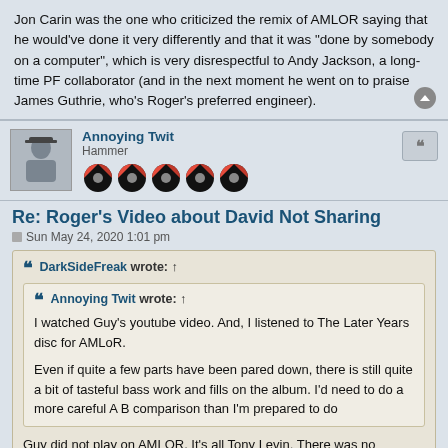Jon Carin was the one who criticized the remix of AMLOR saying that he would've done it very differently and that it was "done by somebody on a computer", which is very disrespectful to Andy Jackson, a long-time PF collaborator (and in the next moment he went on to praise James Guthrie, who's Roger's preferred engineer).
Annoying Twit
Hammer
Re: Roger's Video about David Not Sharing
Sun May 24, 2020 1:01 pm
DarkSideFreak wrote: ↑
Annoying Twit wrote: ↑
I watched Guy's youtube video. And, I listened to The Later Years disc for AMLoR.

Even if quite a few parts have been pared down, there is still quite a bit of tasteful bass work and fills on the album. I'd need to do a more careful A B comparison than I'm prepared to do
Guy did not play on AMLOR. It's all Tony Levin. There was no intention